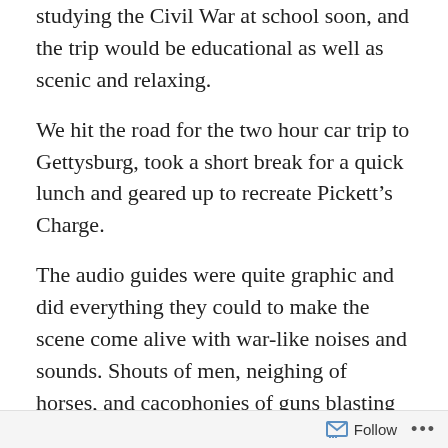studying the Civil War at school soon, and the trip would be educational as well as scenic and relaxing.
We hit the road for the two hour car trip to Gettysburg, took a short break for a quick lunch and geared up to recreate Pickett’s Charge.
The audio guides were quite graphic and did everything they could to make the scene come alive with war-like noises and sounds. Shouts of men, neighing of horses, and cacophonies of guns blasting came through our earphones louder and as tonelessly as Hip Hop. With a little imagination you could see the battle scene playing out.
After the emotional experience of war we wanted to see a different part of life in Gettysburg. The part dealing with
Follow